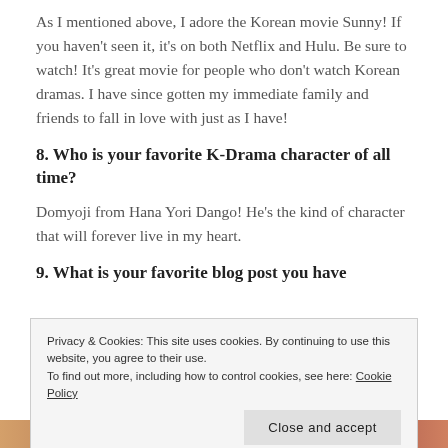As I mentioned above, I adore the Korean movie Sunny! If you haven't seen it, it's on both Netflix and Hulu. Be sure to watch! It's great movie for people who don't watch Korean dramas. I have since gotten my immediate family and friends to fall in love with just as I have!
8. Who is your favorite K-Drama character of all time?
Domyoji from Hana Yori Dango! He's the kind of character that will forever live in my heart.
9. What is your favorite blog post you have
Privacy & Cookies: This site uses cookies. By continuing to use this website, you agree to their use.
To find out more, including how to control cookies, see here: Cookie Policy
Close and accept
[Figure (photo): Partial view of a photo strip showing people's faces at the bottom of the page]